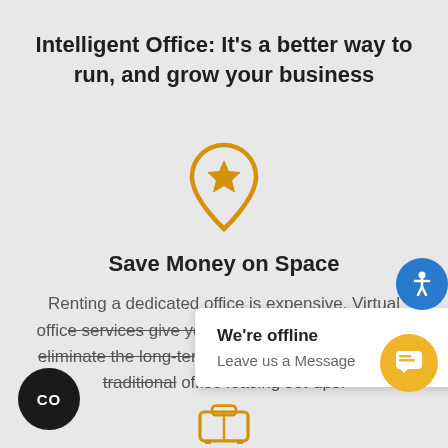Intelligent Office: It's a better way to run, and grow your business
[Figure (illustration): Gold map pin icon with a star inside it]
Save Money on Space
Renting a dedicated office is expensive. Virtual office services give you a prestigious address and eliminate the long-term commitment required with traditional office leasing set-ups.
[Figure (illustration): Chat popup showing 'We're offline / Leave us a Message']
[Figure (illustration): Orange circular chat button with chat icon]
[Figure (illustration): Blue circular accessibility button with person icon]
[Figure (illustration): Black circular button with 'co' text]
[Figure (illustration): Gold trolley/suitcase icon partially visible at bottom]